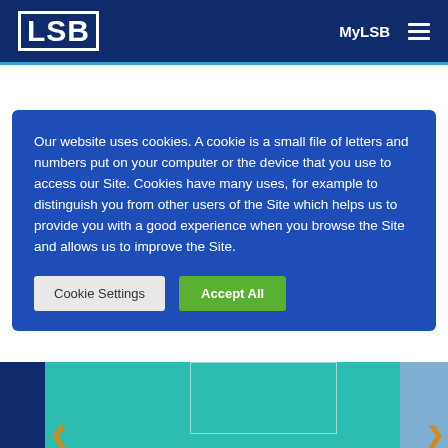LSB | MyLSB
Our website uses cookies. A cookie is a small file of letters and numbers put on your computer or the device that you use to access our Site. Cookies have many uses, for example to distinguish you from other users of the Site which helps us to provide you with a good experience when you browse the Site and allows us to improve the Site.
Cookie Settings | Accept All
[Figure (screenshot): Bottom portion of a webpage showing a teal/dark blue banner with navigation arrows]